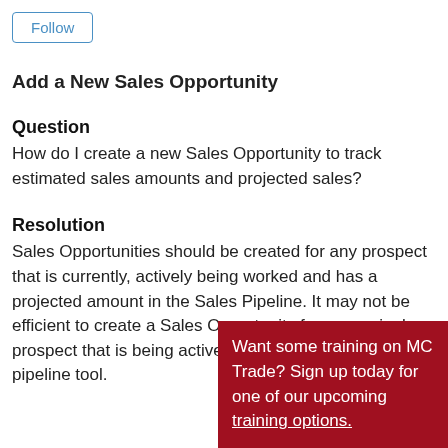Follow
Add a New Sales Opportunity
Question
How do I create a new Sales Opportunity to track estimated sales amounts and projected sales?
Resolution
Sales Opportunities should be created for any prospect that is currently, actively being worked and has a projected amount in the Sales Pipeline. It may not be efficient to create a Sales Opportunity for every single prospect that is being actively worked and is being actively tracked within a sales pipeline tool.
Want some training on MC Trade? Sign up today for one of our upcoming training options.